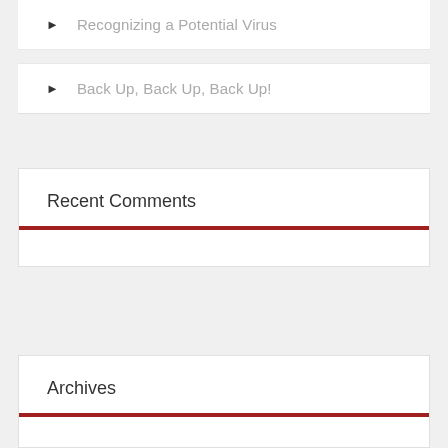Recognizing a Potential Virus
Back Up, Back Up, Back Up!
Recent Comments
Archives